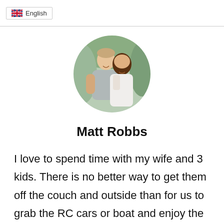English
[Figure (photo): Circular profile photo of a couple — a man in a gray shirt and a woman in a white lace top, smiling outdoors]
Matt Robbs
I love to spend time with my wife and 3 kids. There is no better way to get them off the couch and outside than for us to grab the RC cars or boat and enjoy the sunshine!